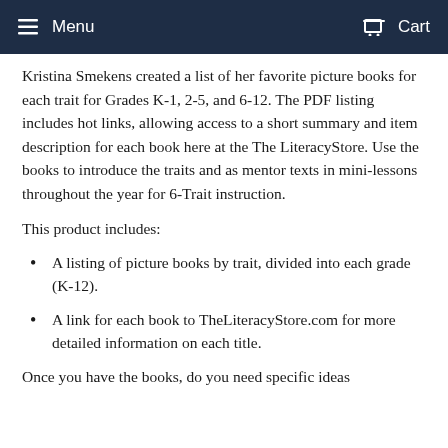Menu  Cart
Kristina Smekens created a list of her favorite picture books for each trait for Grades K-1, 2-5, and 6-12. The PDF listing includes hot links, allowing access to a short summary and item description for each book here at the The LiteracyStore. Use the books to introduce the traits and as mentor texts in mini-lessons throughout the year for 6-Trait instruction.
This product includes:
A listing of picture books by trait, divided into each grade (K-12).
A link for each book to TheLiteracyStore.com for more detailed information on each title.
Once you have the books, do you need specific ideas